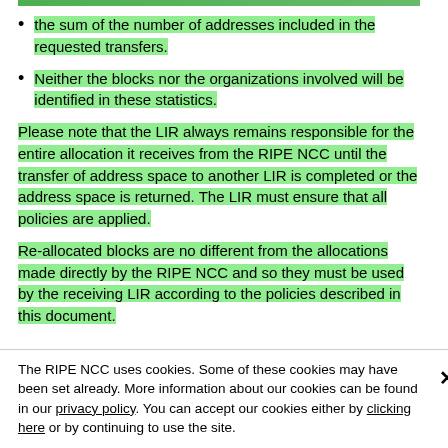the sum of the number of addresses included in the requested transfers.
Neither the blocks nor the organizations involved will be identified in these statistics.
Please note that the LIR always remains responsible for the entire allocation it receives from the RIPE NCC until the transfer of address space to another LIR is completed or the address space is returned. The LIR must ensure that all policies are applied.
Re-allocated blocks are no different from the allocations made directly by the RIPE NCC and so they must be used by the receiving LIR according to the policies described in this document.
The RIPE NCC uses cookies. Some of these cookies may have been set already. More information about our cookies can be found in our privacy policy. You can accept our cookies either by clicking here or by continuing to use the site.